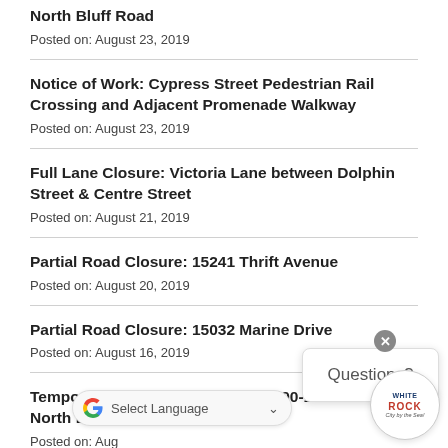North Bluff Road
Posted on: August 23, 2019
Notice of Work: Cypress Street Pedestrian Rail Crossing and Adjacent Promenade Walkway
Posted on: August 23, 2019
Full Lane Closure: Victoria Lane between Dolphin Street & Centre Street
Posted on: August 21, 2019
Partial Road Closure: 15241 Thrift Avenue
Posted on: August 20, 2019
Partial Road Closure: 15032 Marine Drive
Posted on: August 16, 2019
Temporary Full Road Closure: 14400-14500 Block of North Bluff Road
Posted on: Aug
Questions?
[Figure (logo): White Rock City by the Sea logo badge]
Select Language